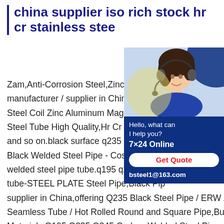china supplier iso rich stock hr cr stainless stee
Zam,Anti-Corrosion Steel,Zinc-Aluminum manufacturer / supplier in China,offering Steel Coil Zinc Aluminum Magnesium Ste... Steel Tube High Quality,Hr Cr Stainless R... and so on.black surface q235 - JC STEE... Black Welded Steel Pipe - CostaSteel.q1... welded steel pipe tube.q195 q235 square tube-STEEL PLATE Steel Pipe,Black Pip... supplier in China,offering Q235 Black Steel Pipe / ERW / Seamless Tube / Hot Rolled Round and Square Pipe,Building Materials Q195 Q235 Q345 Carbon Welded Steel Pipe,Al-Zincastm a53 pre round and square steel pipe China Buy A36 Astm A53 Pre Galvanized Square Steel Pipe Structure Pipe.3.The purity of zinc wire is 99.99% zinc content with high purity to
[Figure (photo): Chat widget with a woman wearing a headset on a blue background, showing 'Hello, what can I help you?', '7x24 Online', 'Get Quote' button, and 'bsteel1@163.com']